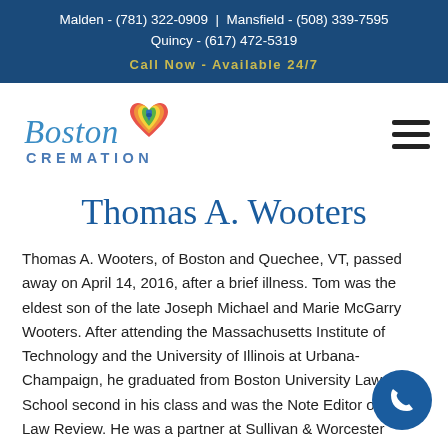Malden - (781) 322-0909 | Mansfield - (508) 339-7595 Quincy - (617) 472-5319
Call Now - Available 24/7
[Figure (logo): Boston Cremation logo with colorful heart graphic and script/sans-serif text]
Thomas A. Wooters
Thomas A. Wooters, of Boston and Quechee, VT, passed away on April 14, 2016, after a brief illness. Tom was the eldest son of the late Joseph Michael and Marie McGarry Wooters. After attending the Massachusetts Institute of Technology and the University of Illinois at Urbana-Champaign, he graduated from Boston University Law School second in his class and was the Note Editor of the Law Review. He was a partner at Sullivan & Worcester